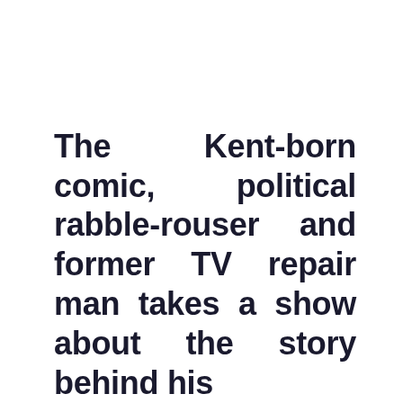The Kent-born comic, political rabble-rouser and former TV repair man takes a show about the story behind his